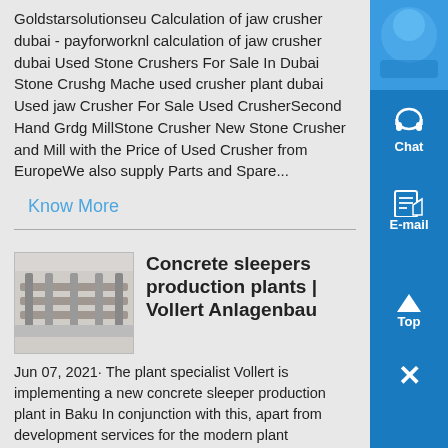Goldstarsolutionseu Calculation of jaw crusher dubai - payforworknl calculation of jaw crusher dubai Used Stone Crushers For Sale In Dubai Stone Crushg Mache used crusher plant dubai Used jaw Crusher For Sale Used CrusherSecond Hand Grdg MillStone Crusher New Stone Crusher and Mill with the Price of Used Crusher from EuropeWe also supply Parts and Spare...
Know More
[Figure (photo): Thumbnail photo of a concrete sleeper production plant conveyor line]
Concrete sleepers production plants | Vollert Anlagenbau
Jun 07, 2021· The plant specialist Vollert is implementing a new concrete sleeper production plant in Baku In conjunction with this, apart from development services for the modern plant technology, the company is also providing extensive engineering services for the planning and realisation of the track system for the